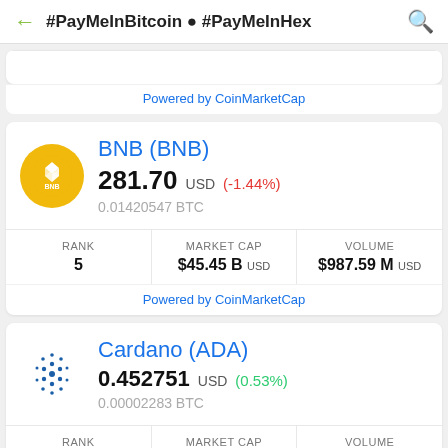#PayMeInBitcoin ● #PayMeInHex
| RANK | MARKET CAP | VOLUME |
| --- | --- | --- |
| (partial, cut off) |
Powered by CoinMarketCap
BNB (BNB)
281.70 USD (-1.44%)
0.01420547 BTC
| RANK | MARKET CAP | VOLUME |
| --- | --- | --- |
| 5 | $45.45 B USD | $987.59 M USD |
Powered by CoinMarketCap
Cardano (ADA)
0.452751 USD (0.53%)
0.00002283 BTC
| RANK | MARKET CAP | VOLUME |
| --- | --- | --- |
| (partial, cut off) |